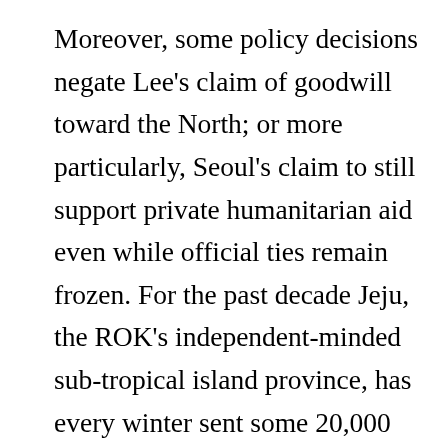Moreover, some policy decisions negate Lee's claim of goodwill toward the North; or more particularly, Seoul's claim to still support private humanitarian aid even while official ties remain frozen. For the past decade Jeju, the ROK's independent-minded sub-tropical island province, has every winter sent some 20,000 tons of its own produce – tangerines and carrots – to the DPRK. Much of this was centrally funded by the Unification Ministry (MOU), but not any more. In January, Jeju sent a much reduced shipment, as the Lee government refused to pay and withdrew the subsidy. Whatever one's politics, this just